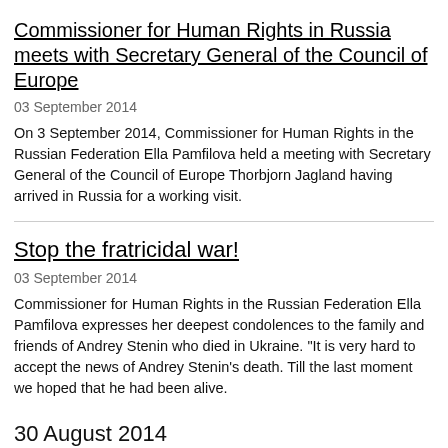Commissioner for Human Rights in Russia meets with Secretary General of the Council of Europe
03 September 2014
On 3 September 2014, Commissioner for Human Rights in the Russian Federation Ella Pamfilova held a meeting with Secretary General of the Council of Europe Thorbjorn Jagland having arrived in Russia for a working visit.
Stop the fratricidal war!
03 September 2014
Commissioner for Human Rights in the Russian Federation Ella Pamfilova expresses her deepest condolences to the family and friends of Andrey Stenin who died in Ukraine. "It is very hard to accept the news of Andrey Stenin's death. Till the last moment we hoped that he had been alive.
30 August 2014